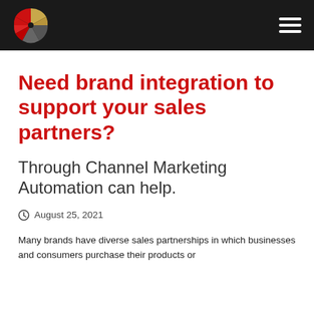Need brand integration to support your sales partners?
Through Channel Marketing Automation can help.
August 25, 2021
Many brands have diverse sales partnerships in which businesses and consumers purchase their products or